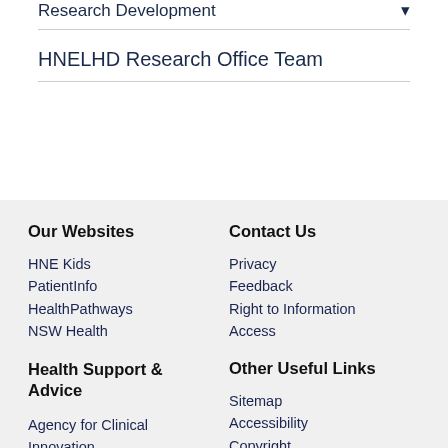Research Development
HNELHD Research Office Team
Our Websites
HNE Kids
PatientInfo
HealthPathways
NSW Health
Contact Us
Privacy
Feedback
Right to Information
Access
Health Support & Advice
Agency for Clinical Innovation
Bureau of Health Information
Clinical Excellence Commission
Other Useful Links
Sitemap
Accessibility
Copyright
Disclaimer